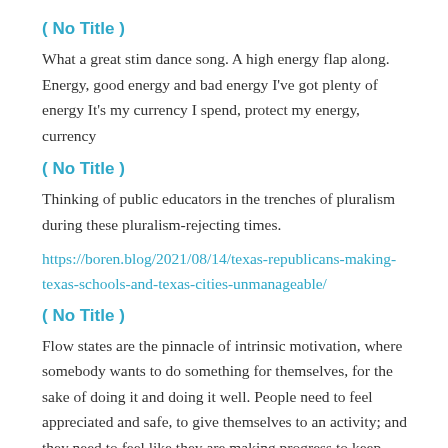( No Title )
What a great stim dance song. A high energy flap along. Energy, good energy and bad energy I've got plenty of energy It's my currency I spend, protect my energy, currency
( No Title )
Thinking of public educators in the trenches of pluralism during these pluralism-rejecting times.
https://boren.blog/2021/08/14/texas-republicans-making-texas-schools-and-texas-cities-unmanageable/
( No Title )
Flow states are the pinnacle of intrinsic motivation, where somebody wants to do something for themselves, for the sake of doing it and doing it well. People need to feel appreciated and safe, to give themselves to an activity; and they need to feel like they are making progress to keep